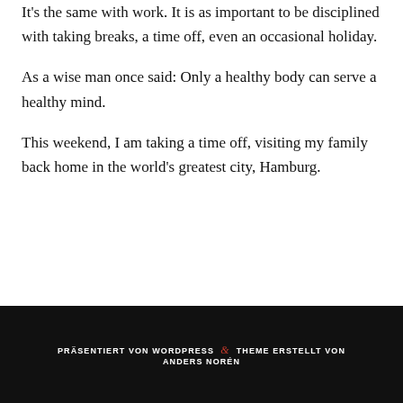It's the same with work. It is as important to be disciplined with taking breaks, a time off, even an occasional holiday.
As a wise man once said: Only a healthy body can serve a healthy mind.
This weekend, I am taking a time off, visiting my family back home in the world's greatest city, Hamburg.
PRÄSENTIERT VON WORDPRESS & THEME ERSTELLT VON ANDERS NORÉN